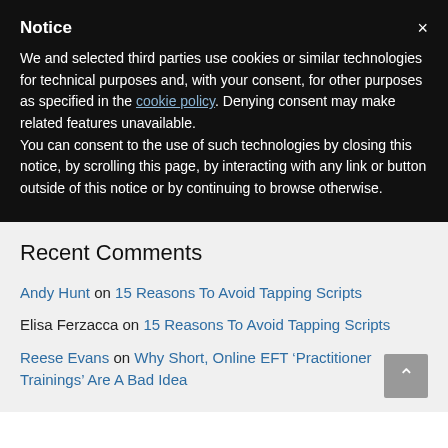Notice
We and selected third parties use cookies or similar technologies for technical purposes and, with your consent, for other purposes as specified in the cookie policy. Denying consent may make related features unavailable.
You can consent to the use of such technologies by closing this notice, by scrolling this page, by interacting with any link or button outside of this notice or by continuing to browse otherwise.
Recent Comments
Andy Hunt on 15 Reasons To Avoid Tapping Scripts
Elisa Ferzacca on 15 Reasons To Avoid Tapping Scripts
Reese Evans on Why Short, Online EFT ‘Practitioner Trainings’ Are A Bad Idea